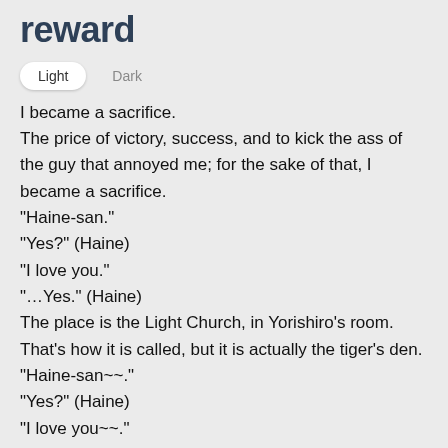reward
Light   Dark
I became a sacrifice.
The price of victory, success, and to kick the ass of the guy that annoyed me; for the sake of that, I became a sacrifice.
"Haine-san."
"Yes?" (Haine)
"I love you."
"...Yes." (Haine)
The place is the Light Church, in Yorishiro's room.
That's how it is called, but it is actually the tiger's den.
"Haine-san~~."
"Yes?" (Haine)
"I love you~~."
"...Yes." (Haine)
To explain what's happening, I was made to sit down